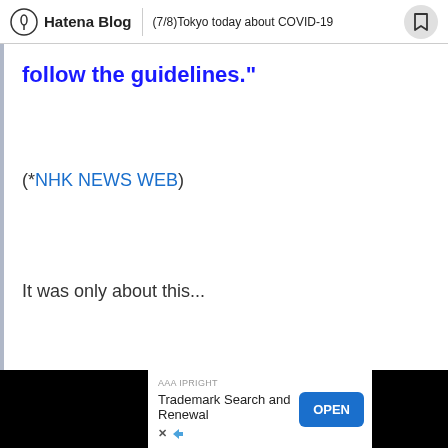Hatena Blog | (7/8)Tokyo today about COVID-19
follow the guidelines."
(*NHK NEWS WEB)
It was only about this...
AAA IPRIGHT
Trademark Search and Renewal
OPEN